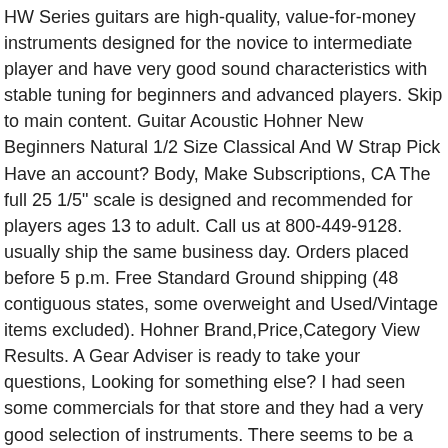HW Series guitars are high-quality, value-for-money instruments designed for the novice to intermediate player and have very good sound characteristics with stable tuning for beginners and advanced players. Skip to main content. Guitar Acoustic Hohner New Beginners Natural 1/2 Size Classical And W Strap Pick Have an account? Body, Make Subscriptions, CA The full 25 1/5" scale is designed and recommended for players ages 13 to adult. Call us at 800-449-9128. usually ship the same business day. Orders placed before 5 p.m. Free Standard Ground shipping (48 contiguous states, some overweight and Used/Vintage items excluded). Hohner Brand,Price,Category View Results. A Gear Adviser is ready to take your questions, Looking for something else? I had seen some commercials for that store and they had a very good selection of instruments. There seems to be a problem serving the request at this time, One stop shop for all things from your favorite brand, {"modules": ["unloadOptimization","bandwidthDetection"],"unloadOptimizatio n":{"browsers":